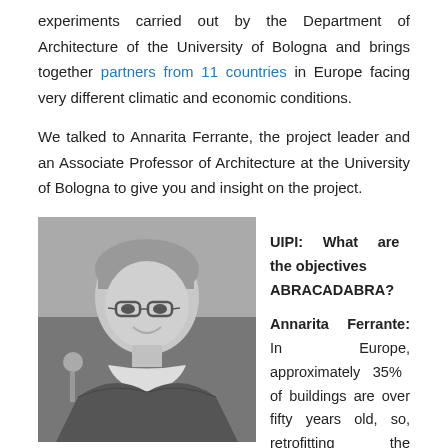experiments carried out by the Department of Architecture of the University of Bologna and brings together partners from 11 countries in Europe facing very different climatic and economic conditions.
We talked to Annarita Ferrante, the project leader and an Associate Professor of Architecture at the University of Bologna to give you and insight on the project.
[Figure (photo): Black and white portrait photo of Annarita Ferrante, a woman with short hair, glasses, and a scarf, smiling.]
UIPI: What are the objectives ABRACADABRA? Annarita Ferrante: In Europe, approximately 35% of buildings are over fifty years old, so, retrofitting the existing building stock is essential to reduce energy consumption, and limiting the most